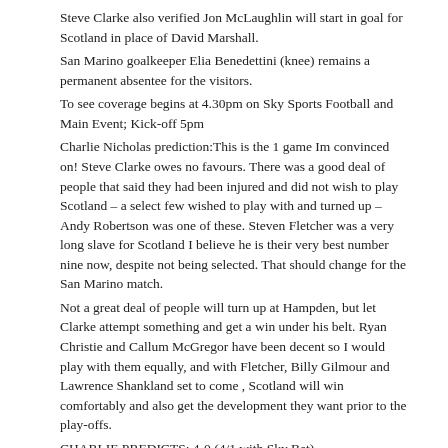Steve Clarke also verified Jon McLaughlin will start in goal for Scotland in place of David Marshall.
San Marino goalkeeper Elia Benedettini (knee) remains a permanent absentee for the visitors.
To see coverage begins at 4.30pm on Sky Sports Football and Main Event; Kick-off 5pm
Charlie Nicholas prediction:This is the 1 game Im convinced on! Steve Clarke owes no favours. There was a good deal of people that said they had been injured and did not wish to play Scotland – a select few wished to play with and turned up – Andy Robertson was one of these. Steven Fletcher was a very long slave for Scotland I believe he is their very best number nine now, despite not being selected. That should change for the San Marino match.
Not a great deal of people will turn up at Hampden, but let Clarke attempt something and get a win under his belt. Ryan Christie and Callum McGregor have been decent so I would play with them equally, and with Fletcher, Billy Gilmour and Lawrence Shankland set to come , Scotland will win comfortably and also get the development they want prior to the play-offs.
CHARLIE PREDICTS: 4-0 (4/1 with Sky Bet)
Team information: Romelu Lukaku has been ruled out as the Inter Milan striker appears to recover from a back injury, meaning after scoring off the bench on Thursday Christian Benteke may be handed a start.
Roberto Martinez can subject a experimental line-up with qualification